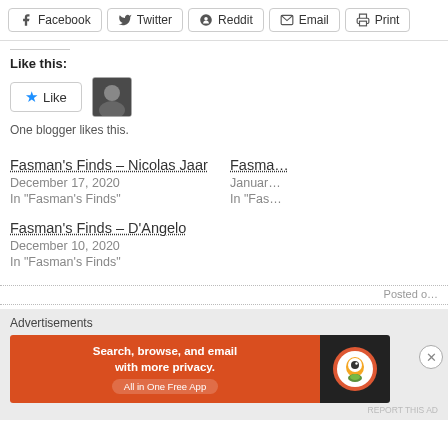[Figure (screenshot): Social share buttons: Facebook, Twitter, Reddit, Email, Print]
Like this:
[Figure (screenshot): Like button widget with star icon and blogger avatar thumbnail. Text: One blogger likes this.]
Fasman's Finds – Nicolas Jaar
December 17, 2020
In "Fasman's Finds"
Fasma...
Januar...
In "Fas...
Fasman's Finds – D'Angelo
December 10, 2020
In "Fasman's Finds"
Posted o...
[Figure (screenshot): DuckDuckGo advertisement banner: Search, browse, and email with more privacy. All in One Free App]
Advertisements